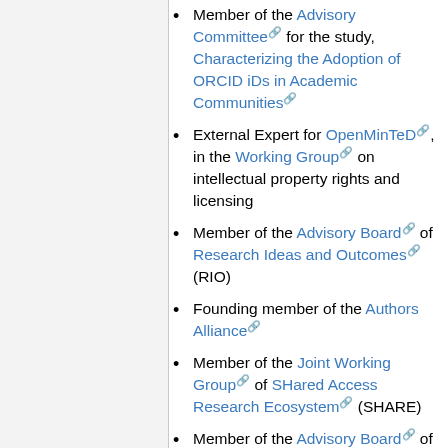Member of the Advisory Committee for the study, Characterizing the Adoption of ORCID iDs in Academic Communities
External Expert for OpenMinTeD, in the Working Group on intellectual property rights and licensing
Member of the Advisory Board of Research Ideas and Outcomes (RIO)
Founding member of the Authors Alliance
Member of the Joint Working Group of SHared Access Research Ecosystem (SHARE)
Member of the Advisory Board of ScienceOpen
Member of the Academic